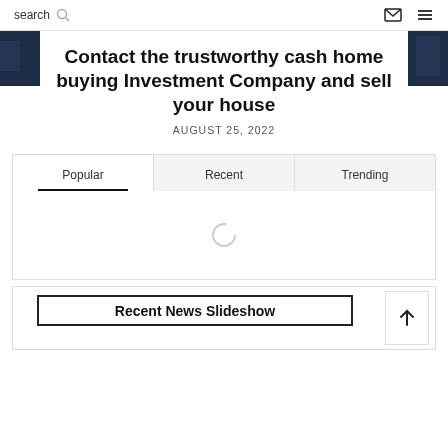search
Contact the trustworthy cash home buying Investment Company and sell your house
AUGUST 25, 2022
[Figure (screenshot): Tabs widget with Popular, Recent, Trending tabs and a loading spinner]
[Figure (screenshot): Recent News Slideshow section with bordered box and scroll-up button]